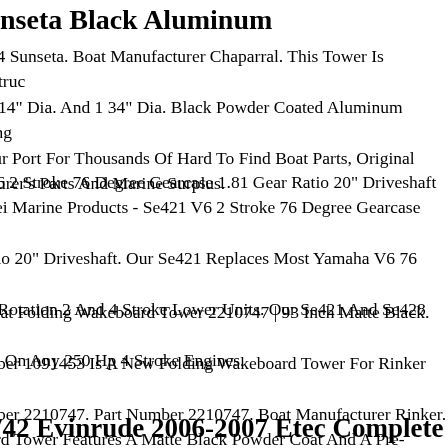nseta Black Aluminum
el 284 Sunseta. Boat Manufacturer Chaparral. This Tower Is Constructed Of 2 14" Dia. And 1 34" Dia. Black Powder Coated Aluminum Tubing. e Your Port For Thousands Of Hard To Find Boat Parts, Original ufacturer's Parts And Marine Surplus.
21 V6 2 Stroke 76 Degree Gearcase 1.81 Gear Ratio 20" Driveshaft k). Sei Marine Products - Se421 V6 2 Stroke 76 Degree Gearcase 1.81 r Ratio 20" Driveshaft. Our Se421 Replaces Most Yamaha V6 76 Degree dard Rotation 2 And 4 Stroke Lower Units. Our Se421 And Se428 Will Work On Any 250 Hp 4 Stroke Engines.
er Boat Folding Wakeboard Tower 2210747 | 93 Inch Matte Black. Bo Number 1091453 Is A New Folding Wakeboard Tower For Rinker Boat Number 2210747. Part Number 2210747. Boat Manufacturer Rinker. eboard Tower Features A Matte Black Powder Coat And A Pre-installed Tow Light.
06742 Evinrude 2006-2007 Etec Complete